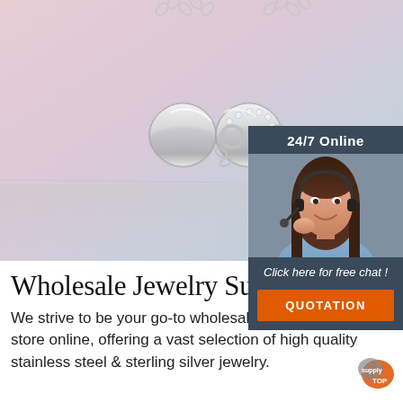[Figure (photo): Silver infinity symbol necklace with crystal accents on a pink/lavender gradient background, with chain visible at top]
[Figure (photo): 24/7 Online customer service panel with a smiling woman wearing a headset, dark teal background, 'Click here for free chat!' text and orange QUOTATION button]
Wholesale Jewelry Supplier
We strive to be your go-to wholesale jewelry supply store online, offering a vast selection of high quality stainless steel & sterling silver jewelry.
[Figure (logo): Supply Top orange and gray logo mark in bottom right corner]